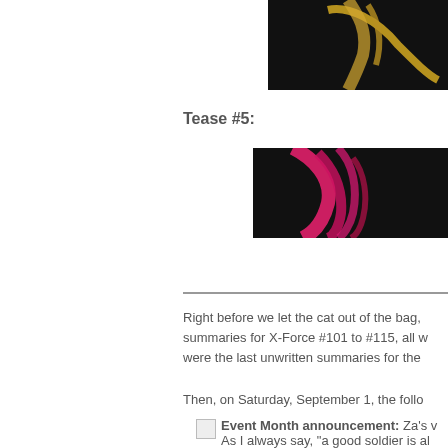[Figure (illustration): Comic book tease image #4 — dark background with yellow/gold figure, partially cropped, top-right corner]
Tease #5:
[Figure (illustration): Comic book tease image #5 — dark background with pink/magenta figure, partially cropped, right side]
Right before we let the cat out of the bag, summaries for X-Force #101 to #115, all w were the last unwritten summaries for the
Then, on Saturday, September 1, the follo
Event Month announcement: Za's w As I always say, "a good soldier is al